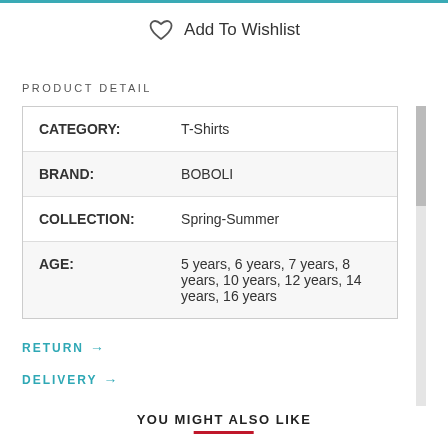Add To Wishlist
PRODUCT DETAIL
| CATEGORY: | T-Shirts |
| BRAND: | BOBOLI |
| COLLECTION: | Spring-Summer |
| AGE: | 5 years, 6 years, 7 years, 8 years, 10 years, 12 years, 14 years, 16 years |
RETURN →
DELIVERY →
YOU MIGHT ALSO LIKE